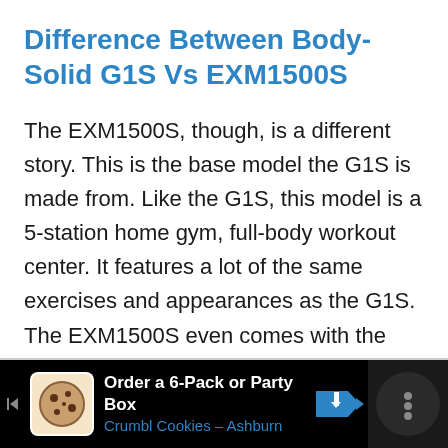Difference Between Body-Solid G1S Vs EXM1500S
The EXM1500S, though, is a different story. This is the base model the G1S is made from. Like the G1S, this model is a 5-station home gym, full-body workout center. It features a lot of the same exercises and appearances as the G1S. The EXM1500S even comes with the Body Solid full lifetime warranty.
[Figure (other): Advertisement bar: Crumbl Cookies - Ashburn. Order a 6-Pack or Party Box. Black background with cookie icon, navigation sign icon, and dark circular element on right.]